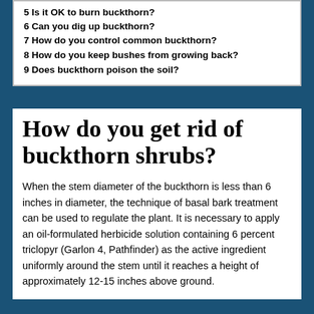5 Is it OK to burn buckthorn?
6 Can you dig up buckthorn?
7 How do you control common buckthorn?
8 How do you keep bushes from growing back?
9 Does buckthorn poison the soil?
How do you get rid of buckthorn shrubs?
When the stem diameter of the buckthorn is less than 6 inches in diameter, the technique of basal bark treatment can be used to regulate the plant. It is necessary to apply an oil-formulated herbicide solution containing 6 percent triclopyr (Garlon 4, Pathfinder) as the active ingredient uniformly around the stem until it reaches a height of approximately 12-15 inches above ground.